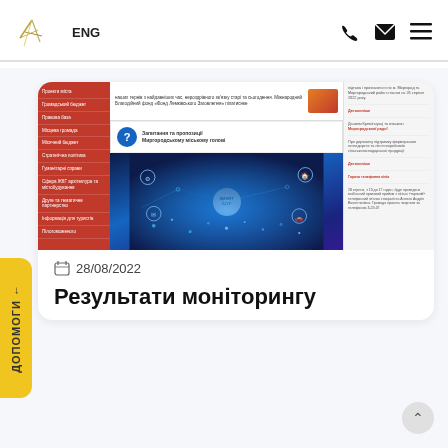ENG
[Figure (screenshot): Screenshot of a Ukrainian municipal government website (Myrhorod city council) showing a red sidebar navigation menu, a question banner for the city mayor, and a Smart City image with glowing cityscape]
28/08/2022
Результати моніторингу